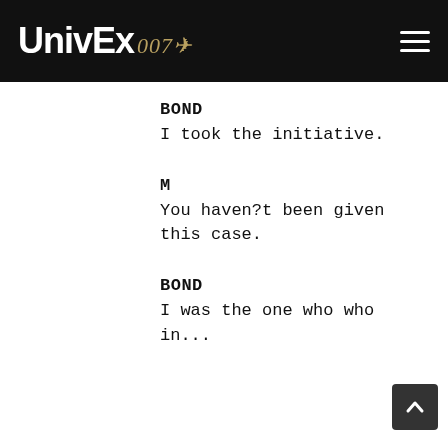UnivEx 007
BOND
I took the initiative.
M
You haven?t been given this case.
BOND
I was the one who brought in...